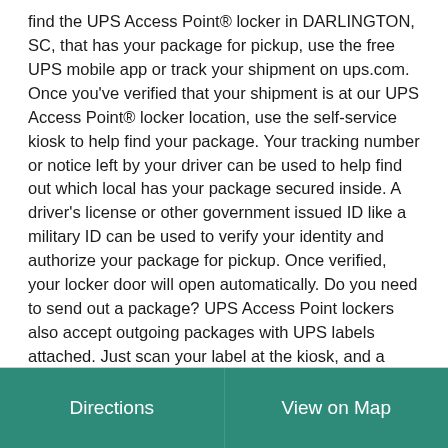find the UPS Access Point® locker in DARLINGTON, SC, that has your package for pickup, use the free UPS mobile app or track your shipment on ups.com. Once you've verified that your shipment is at our UPS Access Point® locker location, use the self-service kiosk to help find your package. Your tracking number or notice left by your driver can be used to help find out which local has your package secured inside. A driver's license or other government issued ID like a military ID can be used to verify your identity and authorize your package for pickup. Once verified, your locker door will open automatically. Do you need to send out a package? UPS Access Point lockers also accept outgoing packages with UPS labels attached. Just scan your label at the kiosk, and a locker door will open.
Directions | View on Map